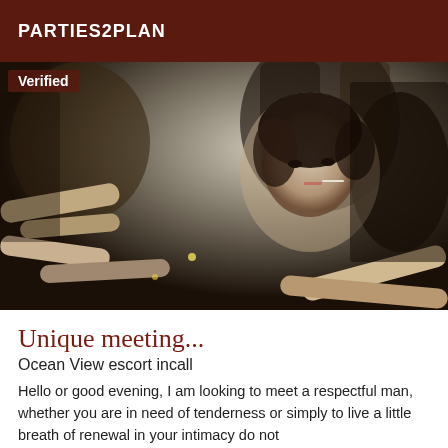PARTIES2PLAN
[Figure (photo): Black and white vintage photo of a glamorous young woman with curly hair and a cigarette in her mouth, surrounded by multiple hands reaching toward her, in a crowd setting.]
Unique meeting...
Ocean View escort incall
Hello or good evening, I am looking to meet a respectful man, whether you are in need of tenderness or simply to live a little breath of renewal in your intimacy do not hesitate to contact me... a little softness in this world of...